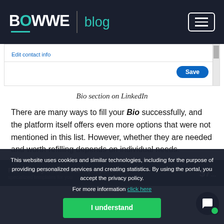BOWWE blog
[Figure (screenshot): LinkedIn contact info edit screen with Save button]
Bio section on LinkedIn
There are many ways to fill your Bio successfully, and the platform itself offers even more options that were not mentioned in this list. However, whether they are needed and worth refilling depends on individual needs.
This website uses cookies and similar technologies, including for the purpose of providing personalized services and creating statistics. By using the portal, you accept the privacy policy. For more information click here
I understand